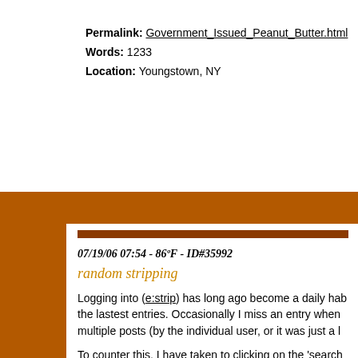Permalink: Government_Issued_Peanut_Butter.html
Words: 1233
Location: Youngstown, NY
07/19/06 07:54 - 86ºF - ID#35992
random stripping
Logging into (e:strip) has long ago become a daily hab... the lastest entries. Occasionally I miss an entry when multiple posts (by the individual user, or it was just a l...
To counter this, I have taken to clicking on the 'search what people are saying about what. How interesting (a views and reactions on just about everything! This too what entries I may have missed. Reading other people a new perspective on the original post. Sometimes I m an aspect of the original content. Sometimes I learn so